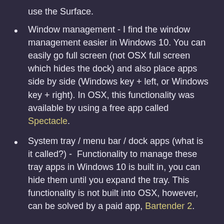use the Surface.
Window management - I find the window management easier in Windows 10. You can easily go full screen (not OSX full screen which hides the dock) and also place apps side by side (Windows key + left, or Windows key + right). In OSX, this functionality was available by using a free app called Spectacle.
System tray / menu bar / dock apps (what is it called?) -  Functionality to manage these tray apps in Windows 10 is built in, you can hide them until you expand the tray. This functionality is not built into OSX, however, can be solved by a paid app, Bartender 2.